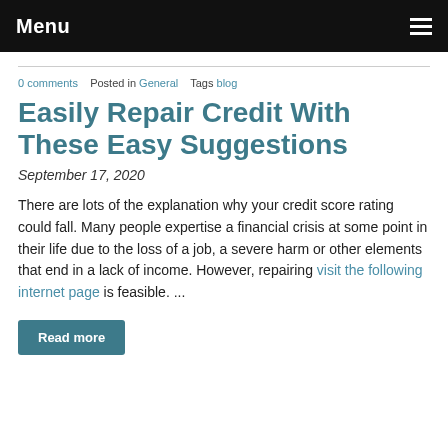Menu
0 comments   Posted in General   Tags blog
Easily Repair Credit With These Easy Suggestions
September 17, 2020
There are lots of the explanation why your credit score rating could fall. Many people expertise a financial crisis at some point in their life due to the loss of a job, a severe harm or other elements that end in a lack of income. However, repairing visit the following internet page is feasible. ...
Read more